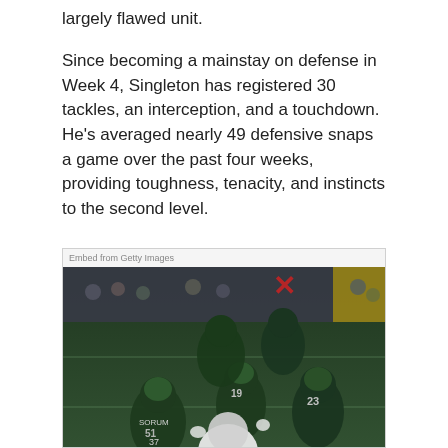largely flawed unit.
Since becoming a mainstay on defense in Week 4, Singleton has registered 30 tackles, an interception, and a touchdown. He's averaged nearly 49 defensive snaps a game over the past four weeks, providing toughness, tenacity, and instincts to the second level.
[Figure (photo): NFL football players during a game. Several Philadelphia Eagles defenders (in dark green uniforms) tackling a Dallas Cowboys player (in white uniform, number 86, SCHULTZ) on the field at night. Players visible include numbers 51, 37, 19, and 23.]